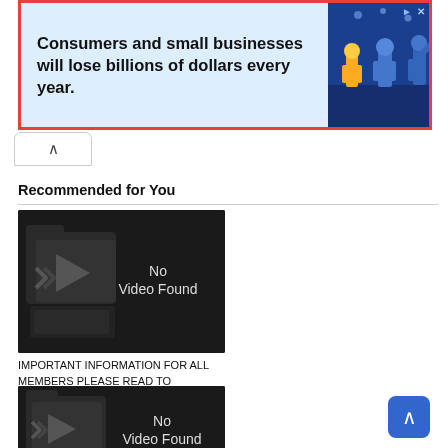[Figure (infographic): Advertisement banner with blue background showing illustrated characters and text: Consumers and small businesses will lose billions of dollars every year.]
[Figure (screenshot): Collapse/up arrow tab button below ad banner]
Recommended for You
[Figure (screenshot): Video thumbnail placeholder showing dark folder/film icon with text: No Video Found]
IMPORTANT INFORMATION FOR ALL MEMBERS PLEASE READ TO
[Figure (screenshot): Second video thumbnail placeholder showing dark folder/film icon with text: No Video Found]
JBBK EDUCATION NEWS